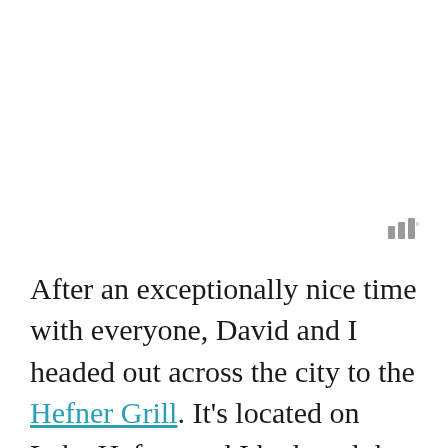[Figure (other): Signal/bar strength icon with three vertical bars of increasing height and a degree symbol]
After an exceptionally nice time with everyone, David and I headed out across the city to the Hefner Grill. It's located on Lake Hefner and I had read that dinner at sunset was really spectacular. There weren't any tables available on the patio